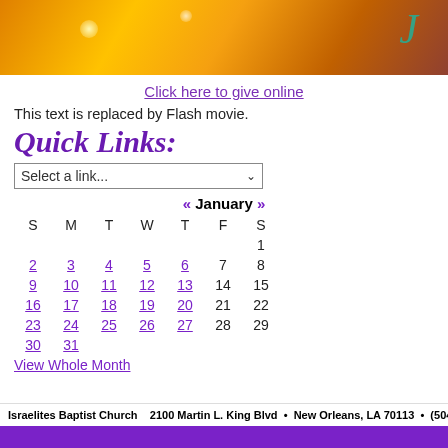[Figure (photo): Orange/golden glowing banner image with teal script letter]
Click here to give online
This text is replaced by Flash movie.
Quick Links:
Select a link...
| S | M | T | W | T | F | S |
| --- | --- | --- | --- | --- | --- | --- |
|  |  |  |  |  |  | 1 |
| 2 | 3 | 4 | 5 | 6 | 7 | 8 |
| 9 | 10 | 11 | 12 | 13 | 14 | 15 |
| 16 | 17 | 18 | 19 | 20 | 21 | 22 |
| 23 | 24 | 25 | 26 | 27 | 28 | 29 |
| 30 | 31 |  |  |  |  |  |
View Whole Month
Israelites Baptist Church    2100 Martin L. King Blvd  •  New Orleans, LA 70113  •  (504) 52...